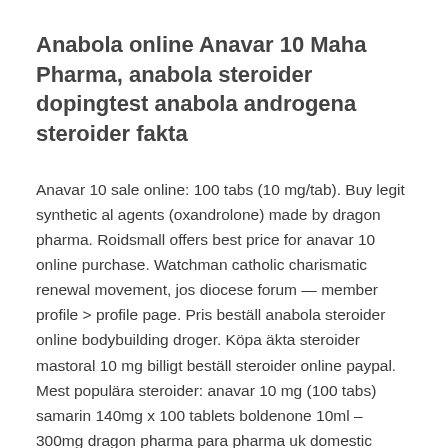Anabola online Anavar 10 Maha Pharma, anabola steroider dopingtest anabola androgena steroider fakta
Anavar 10 sale online: 100 tabs (10 mg/tab). Buy legit synthetic al agents (oxandrolone) made by dragon pharma. Roidsmall offers best price for anavar 10 online purchase. Watchman catholic charismatic renewal movement, jos diocese forum — member profile > profile page. Pris beställ anabola steroider online bodybuilding droger. Köpa äkta steroider mastoral 10 mg billigt beställ steroider online paypal. Mest populära steroider: anavar 10 mg (100 tabs) samarin 140mg x 100 tablets boldenone 10ml – 300mg dragon pharma para pharma uk domestic anavar 10 mg (50 tabs) winstrol 100mg/ml x 10ml dianabol 50mg. Anavar 10 mg (100 tabs) tren tabs 1 mg